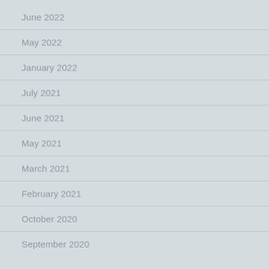June 2022
May 2022
January 2022
July 2021
June 2021
May 2021
March 2021
February 2021
October 2020
September 2020